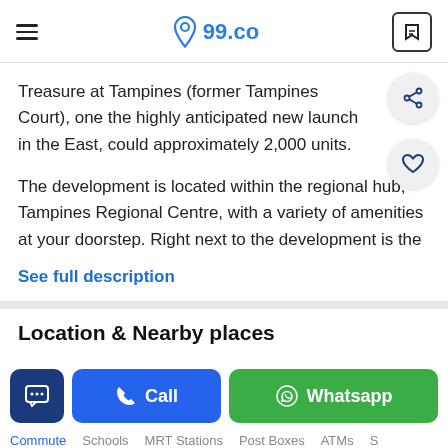99.co
Treasure at Tampines (former Tampines Court), one the highly anticipated new launch in the East, could approximately 2,000 units.
The development is located within the regional hub, Tampines Regional Centre, with a variety of amenities at your doorstep. Right next to the development is the
See full description
Location & Nearby places